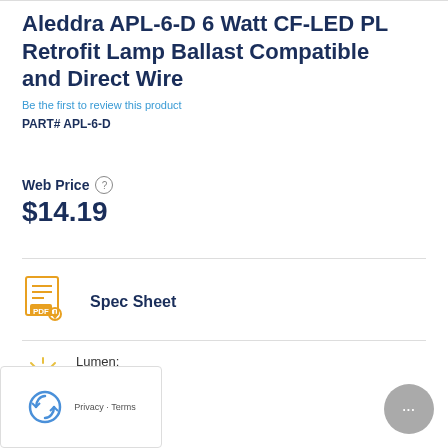Aleddra APL-6-D 6 Watt CF-LED PL Retrofit Lamp Ballast Compatible and Direct Wire
Be the first to review this product
PART# APL-6-D
Web Price
$14.19
[Figure (other): PDF Spec Sheet icon]
Spec Sheet
[Figure (other): Light bulb / lumen icon]
Lumen:
790lm
[Figure (other): Wattage / lightning bolt icon]
Wattage:
6 Watt